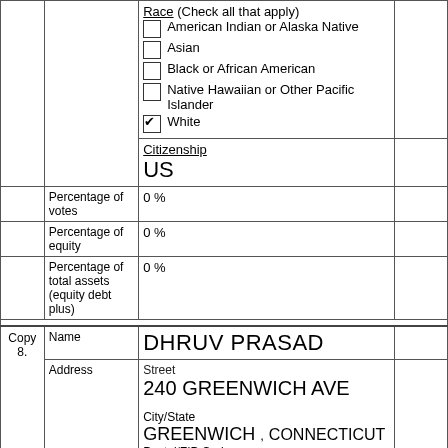|  |  | Race (Check all that apply)
□ American Indian or Alaska Native
□ Asian
□ Black or African American
□ Native Hawaiian or Other Pacific Islander
☑ White |  |
|  |  | Citizenship
US |  |
|  | Percentage of votes | 0 % |  |
|  | Percentage of equity | 0 % |  |
|  | Percentage of total assets (equity debt plus) | 0 % |  |
| Copy 8. | Name | DHRUV PRASAD |  |
|  | Address | Street
240 GREENWICH AVE

City/State
GREENWICH , CONNECTICUT
Postal/ZIP Code
... |  |